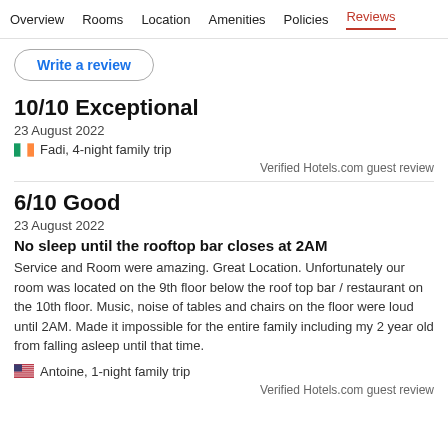Overview  Rooms  Location  Amenities  Policies  Reviews
Write a review
10/10 Exceptional
23 August 2022
Fadi, 4-night family trip
Verified Hotels.com guest review
6/10 Good
23 August 2022
No sleep until the rooftop bar closes at 2AM
Service and Room were amazing. Great Location. Unfortunately our room was located on the 9th floor below the roof top bar / restaurant on the 10th floor. Music, noise of tables and chairs on the floor were loud until 2AM. Made it impossible for the entire family including my 2 year old from falling asleep until that time.
Antoine, 1-night family trip
Verified Hotels.com guest review